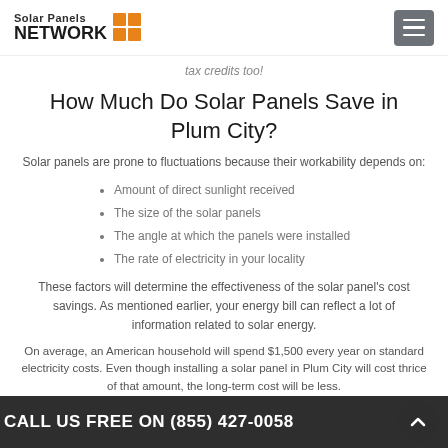Solar Panels NETWORK
tax credits too!
How Much Do Solar Panels Save in Plum City?
Solar panels are prone to fluctuations because their workability depends on:
Amount of direct sunlight received
The size of the solar panels
The angle at which the panels were installed
The rate of electricity in your locality
These factors will determine the effectiveness of the solar panel's cost savings. As mentioned earlier, your energy bill can reflect a lot of information related to solar energy.
On average, an American household will spend $1,500 every year on standard electricity costs. Even though installing a solar panel in Plum City will cost thrice of that amount, the long-term cost will be less.
CALL US FREE ON (855) 427-0058